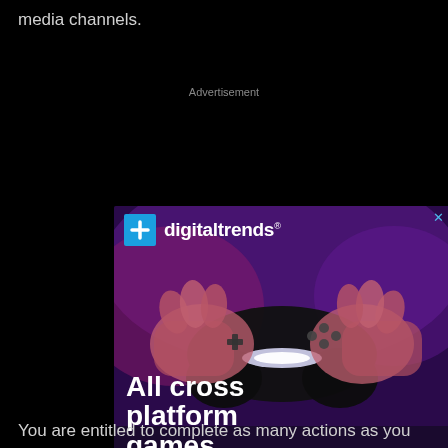media channels.
Advertisement
[Figure (screenshot): Digital Trends advertisement showing hands holding a gaming controller with purple/pink lighting. Text reads 'All cross platform games' with a 'READ MORE' button. The Digital Trends logo appears at the top left with a blue icon.]
You are entitled to complete as many actions as you like, each action offers a unique number of entries and each entry has the potential to be the winning